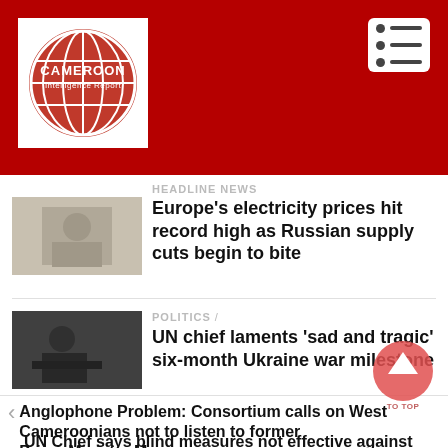[Figure (logo): Cameroon Intelligence Report globe logo, red and white, inside white box on dark red header]
Cameroon Intelligence Report
HEADLINE NEWS
Europe’s electricity prices hit record high as Russian supply cuts begin to bite
POLITICS /
UN chief laments ‘sad and tragic’ six-month Ukraine war milestone
Anglophone Problem: Consortium calls on West Cameroonians not to listen to former Prime Minister Musonge
UN Chief says blind measures not effective against terrorism